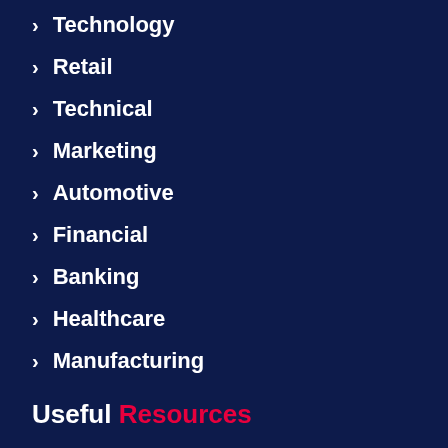Technology
Retail
Technical
Marketing
Automotive
Financial
Banking
Healthcare
Manufacturing
Useful Resources